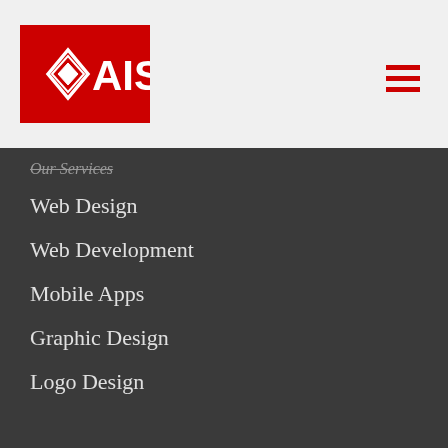[Figure (logo): AIS logo — red rectangle with diamond/rhombus icon on left and white text 'AIS' on right]
Our Services
Web Design
Web Development
Mobile Apps
Graphic Design
Logo Design
Google Adwords
SEO Services